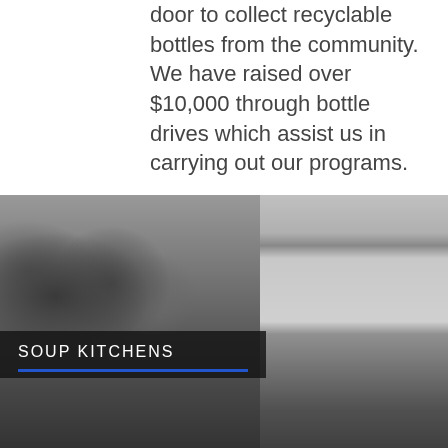door to collect recyclable bottles from the community. We have raised over $10,000 through bottle drives which assist us in carrying out our programs.
[Figure (photo): Black and white photograph of volunteers working in a soup kitchen, serving food. On the right side there are metal shelves stacked with plates and kitchen equipment.]
SOUP KITCHENS